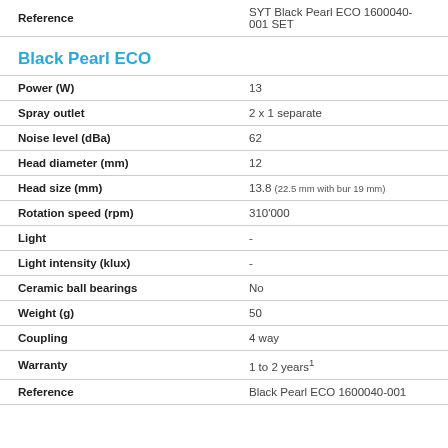| Reference |  |
| --- | --- |
| Reference | SYT Black Pearl ECO 1600040-001 SET |
Black Pearl ECO
| Property | Value |
| --- | --- |
| Power (W) | 13 |
| Spray outlet | 2 x 1 separate |
| Noise level (dBa) | 62 |
| Head diameter (mm) | 12 |
| Head size (mm) | 13.8 (22.5 mm with bur 19 mm) |
| Rotation speed (rpm) | 310'000 |
| Light | - |
| Light intensity (klux) | - |
| Ceramic ball bearings | No |
| Weight (g) | 50 |
| Coupling | 4 way |
| Warranty | 1 to 2 years¹ |
| Reference | Black Pearl ECO 1600040-001 |